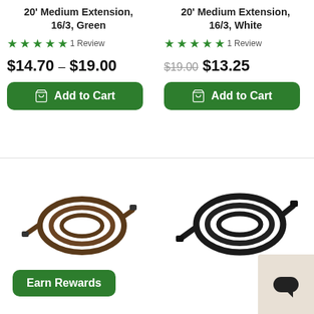20' Medium Extension, 16/3, Green
★★★★★ 1 Review
$14.70 – $19.00
Add to Cart
20' Medium Extension, 16/3, White
★★★★★ 1 Review
$19.00  $13.25
Add to Cart
[Figure (photo): Coiled brown extension cord]
[Figure (photo): Coiled black extension cord]
Earn Rewards